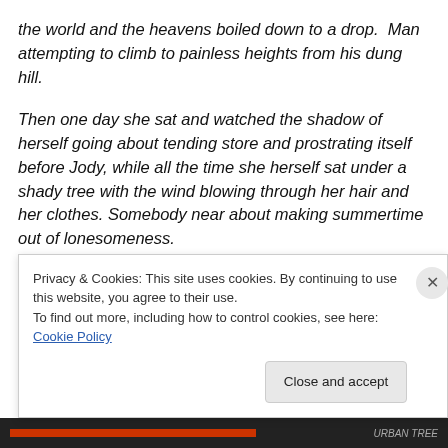the world and the heavens boiled down to a drop.  Man attempting to climb to painless heights from his dung hill.
Then one day she sat and watched the shadow of herself going about tending store and prostrating itself before Jody, while all the time she herself sat under a shady tree with the wind blowing through her hair and her clothes. Somebody near about making summertime out of lonesomeness.
This was the first time it happened, but after a while it got
Privacy & Cookies: This site uses cookies. By continuing to use this website, you agree to their use.
To find out more, including how to control cookies, see here: Cookie Policy